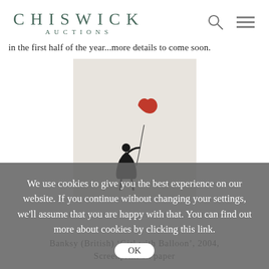CHISWICK AUCTIONS
in the first half of the year...more details to come soon.
[Figure (photo): Banksy artwork 'Girl with Balloon' 2004, showing a girl silhouette reaching toward a red heart-shaped balloon, screenprint on paper, light grey/beige background]
We use cookies to give you the best experience on our website. If you continue without changing your settings, we'll assume that you are happy with that. You can find out more about cookies by clicking this link.
Banksy (British) 'Girl with Balloon', 2004, Screenprint on paper